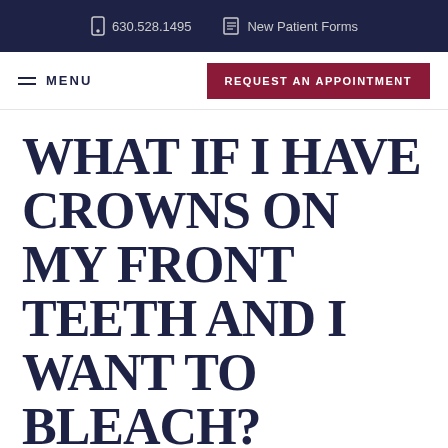630.528.1495   New Patient Forms
MENU   REQUEST AN APPOINTMENT
WHAT IF I HAVE CROWNS ON MY FRONT TEETH AND I WANT TO BLEACH?
I have porcelain fused to metal crowns on my two front teeth. I have had them for a few years now and the black line at the gum line is starting to show the crowns appear to be alot bigger than all my